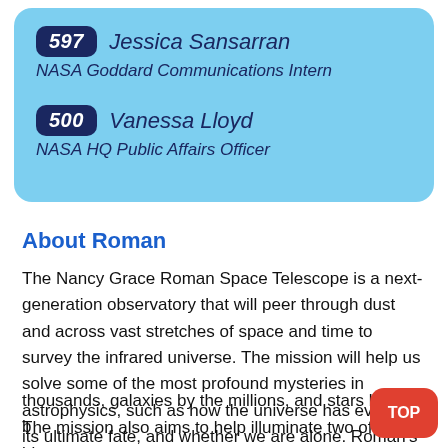597 Jessica Sansarran
NASA Goddard Communications Intern
500 Vanessa Lloyd
NASA HQ Public Affairs Officer
About Roman
The Nancy Grace Roman Space Telescope is a next-generation observatory that will peer through dust and across vast stretches of space and time to survey the infrared universe. The mission will help us solve some of the most profound mysteries in astrophysics, such as how the universe has evolved, its ultimate fate, and whether we are alone. Roman's enormous view of space and fast survey speeds will allow astronomers to observe planets by the thousands, galaxies by the millions, and stars by the b... The mission also aims to help illuminate two of the biggest